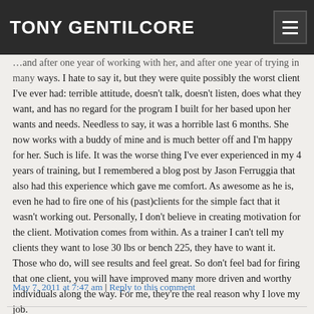TONY GENTILCORE
…and after one year of working with her, and after one year of trying in many ways. I hate to say it, but they were quite possibly the worst client I've ever had: terrible attitude, doesn't talk, doesn't listen, does what they want, and has no regard for the program I built for her based upon her wants and needs. Needless to say, it was a horrible last 6 months. She now works with a buddy of mine and is much better off and I'm happy for her. Such is life. It was the worse thing I've ever experienced in my 4 years of training, but I remembered a blog post by Jason Ferruggia that also had this experience which gave me comfort. As awesome as he is, even he had to fire one of his (past)clients for the simple fact that it wasn't working out. Personally, I don't believe in creating motivation for the client. Motivation comes from within. As a trainer I can't tell my clients they want to lose 30 lbs or bench 225, they have to want it. Those who do, will see results and feel great. So don't feel bad for firing that one client, you will have improved many more driven and worthy individuals along the way. For me, they're the real reason why I love my job.
May 7, 2011 at 7:47 am | Reply to this comment